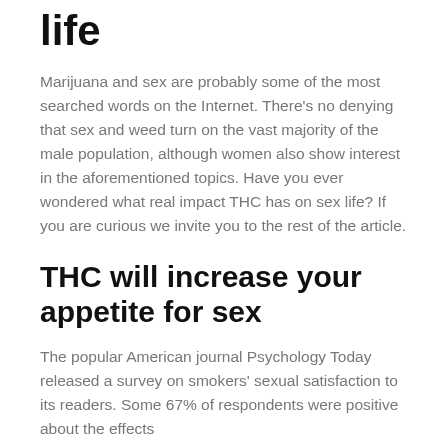life
Marijuana and sex are probably some of the most searched words on the Internet. There's no denying that sex and weed turn on the vast majority of the male population, although women also show interest in the aforementioned topics. Have you ever wondered what real impact THC has on sex life? If you are curious we invite you to the rest of the article.
THC will increase your appetite for sex
The popular American journal Psychology Today released a survey on smokers' sexual satisfaction to its readers. Some 67% of respondents were positive about the effects